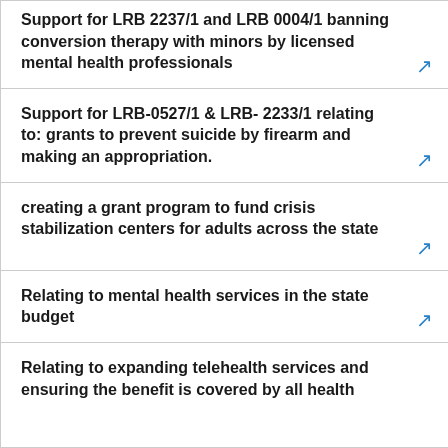Support for LRB 2237/1 and LRB 0004/1 banning conversion therapy with minors by licensed mental health professionals
Support for LRB-0527/1 & LRB- 2233/1 relating to: grants to prevent suicide by firearm and making an appropriation.
creating a grant program to fund crisis stabilization centers for adults across the state
Relating to mental health services in the state budget
Relating to expanding telehealth services and ensuring the benefit is covered by all health